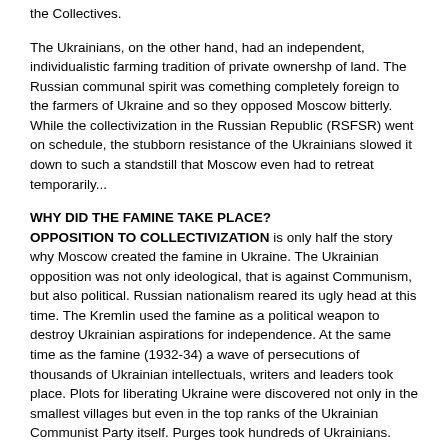the Collectives.
The Ukrainians, on the other hand, had an independent, individualistic farming tradition of private ownershp of land. The Russian communal spirit was comething completely foreign to the farmers of Ukraine and so they opposed Moscow bitterly. While the collectivization in the Russian Republic (RSFSR) went on schedule, the stubborn resistance of the Ukrainians slowed it down to such a standstill that Moscow even had to retreat temporarily...
WHY DID THE FAMINE TAKE PLACE?
OPPOSITION TO COLLECTIVIZATION is only half the story why Moscow created the famine in Ukraine. The Ukrainian opposition was not only ideological, that is against Communism, but also political. Russian nationalism reared its ugly head at this time. The Kremlin used the famine as a political weapon to destroy Ukrainian aspirations for independence. At the same time as the famine (1932-34) a wave of persecutions of thousands of Ukrainian intellectuals, writers and leaders took place. Plots for liberating Ukraine were discovered not only in the smallest villages but even in the top ranks of the Ukrainian Communist Party itself. Purges took hundreds of Ukrainians. Suicide was the escape of many. In 1933 the famous writer Mykola Khvylovy and the veteran Ukrainian Communist, Mykola Skrypnyk, both chose suicide.
"This famine," says the American authority William H. Chamberlin, "may fairly be called political because it was not the result of any overwhelming natural catastrophe or of ... a complete exhaustion of the country's resources..."